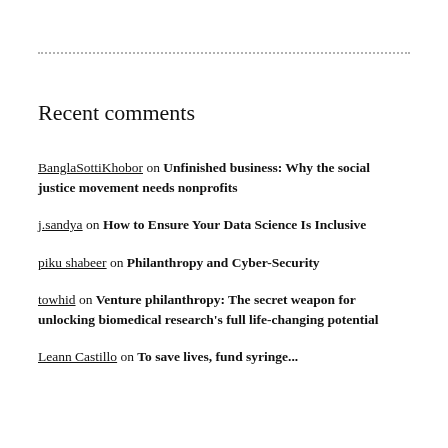Recent comments
BanglaSottiKhobor on Unfinished business: Why the social justice movement needs nonprofits
j.sandya on How to Ensure Your Data Science Is Inclusive
piku shabeer on Philanthropy and Cyber-Security
towhid on Venture philanthropy: The secret weapon for unlocking biomedical research's full life-changing potential
Leann Castillo on To save lives, fund syringe...